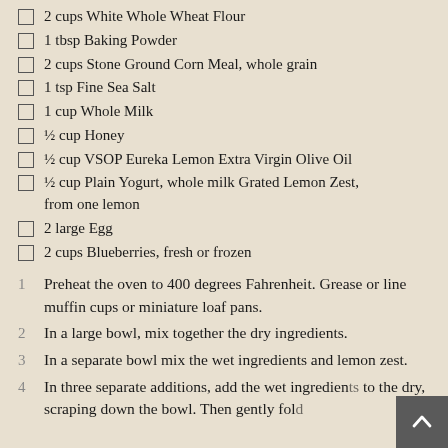2 cups White Whole Wheat Flour
1 tbsp Baking Powder
2 cups Stone Ground Corn Meal, whole grain
1 tsp Fine Sea Salt
1 cup Whole Milk
½ cup Honey
½ cup VSOP Eureka Lemon Extra Virgin Olive Oil
½ cup Plain Yogurt, whole milk Grated Lemon Zest, from one lemon
2 large Egg
2 cups Blueberries, fresh or frozen
1 Preheat the oven to 400 degrees Fahrenheit. Grease or line muffin cups or miniature loaf pans.
2 In a large bowl, mix together the dry ingredients.
3 In a separate bowl mix the wet ingredients and lemon zest.
4 In three separate additions, add the wet ingredients to the dry, scraping down the bowl. Then gently fold